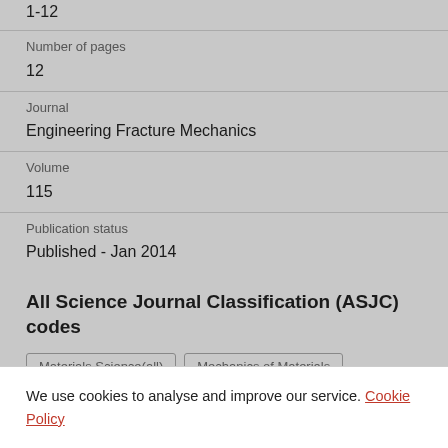1-12
Number of pages
12
Journal
Engineering Fracture Mechanics
Volume
115
Publication status
Published - Jan 2014
All Science Journal Classification (ASJC) codes
Materials Science(all)
Mechanics of Materials
We use cookies to analyse and improve our service. Cookie Policy